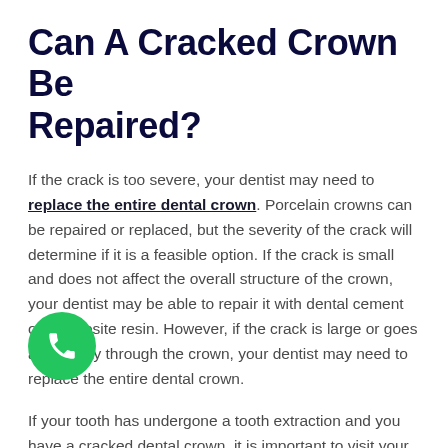Can A Cracked Crown Be Repaired?
If the crack is too severe, your dentist may need to replace the entire dental crown. Porcelain crowns can be repaired or replaced, but the severity of the crack will determine if it is a feasible option. If the crack is small and does not affect the overall structure of the crown, your dentist may be able to repair it with dental cement or composite resin. However, if the crack is large or goes all the way through the crown, your dentist may need to replace the entire dental crown.
If your tooth has undergone a tooth extraction and you have a cracked dental crown, it is important to visit your dentist as soon as possible. A cracked dental crown can increase the risk of tooth decay and bacteria entering the tooth socket.